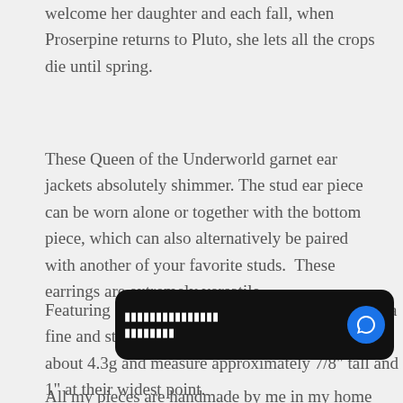welcome her daughter and each fall, when Proserpine returns to Pluto, she lets all the crops die until spring.
These Queen of the Underworld garnet ear jackets absolutely shimmer. The stud ear piece can be worn alone or together with the bottom piece, which can also alternatively be paired with another of your favorite studs.  These earrings are extremely versatile.
Featuring foil backed rhodolite garnets, nestled in a fine and sterling silver setting.  Each set weighs about 4.3g and measure approximately 7/8" tall and 1" at their widest point.
All my pieces are handmade by me in my home
[Figure (screenshot): Chat bubble overlay in black with white rectangular icon text and a blue circular chat icon on the right]